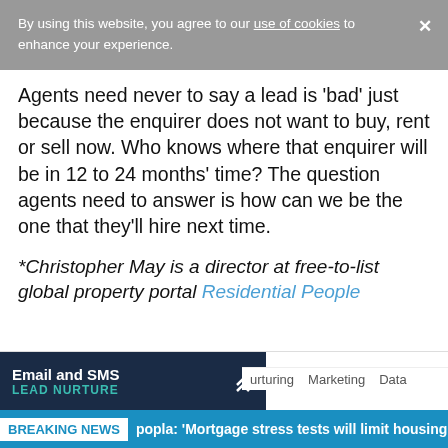By using this website, you agree to our use of cookies to enhance your experience.
Agents need never to say a lead is 'bad' just because the enquirer does not want to buy, rent or sell now. Who knows where that enquirer will be in 12 to 24 months' time? The question agents need to answer is how can we be the one that they'll hire next time.
*Christopher May is a director at free-to-list global property portal Residential People
Email and SMS LEAD NURTURE | l People | Portals | urturing | Marketing | Data
BREAKING NEWS popla: 'Mortgage stress tests will limit housing mar